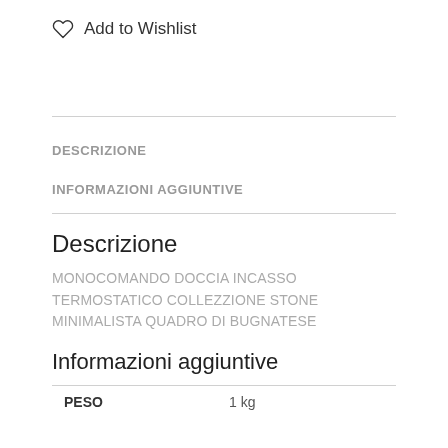Add to Wishlist
DESCRIZIONE
INFORMAZIONI AGGIUNTIVE
Descrizione
MONOCOMANDO DOCCIA INCASSO TERMOSTATICO COLLEZZIONE STONE MINIMALISTA QUADRO DI BUGNATESE
Informazioni aggiuntive
| PESO |  |
| --- | --- |
| PESO | 1 kg |